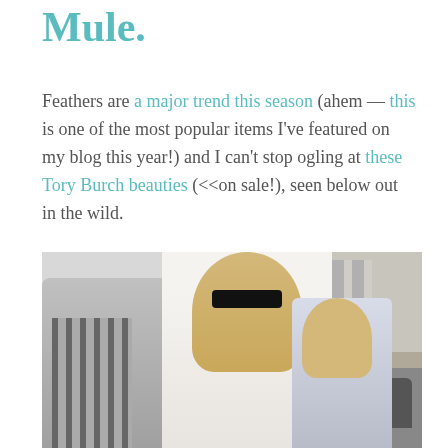Mule.
Feathers are a major trend this season (ahem — this is one of the most popular items I've featured on my blog this year!) and I can't stop ogling at these Tory Burch beauties (<<on sale!), seen below out in the wild.
[Figure (photo): Street style photo of two blonde women wearing sunglasses walking in an urban setting. The central woman wears a white shirt and cat-eye sunglasses, with a second woman visible behind her. Other pedestrians and vehicles including a yellow taxi are visible in the background.]